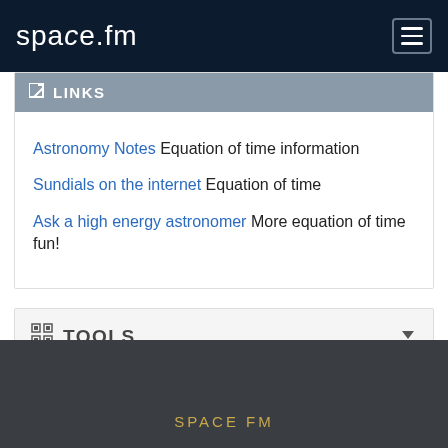space.fm
LINKS
Astronomy Notes Equation of time information
Sundials on the internet Equation of time
Ask a high energy astronomer More equation of time fun!
TOOLS
SPACE FM